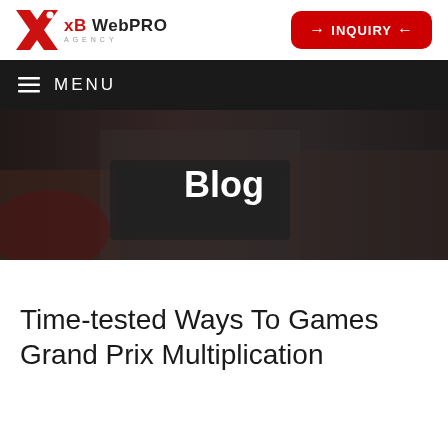xB WebPRO AGENCY — INQUIRY
[Figure (logo): xB WebPRO Agency logo with red X icon and text]
[Figure (other): Red rounded rectangle INQUIRY button with arrows]
MENU
[Figure (photo): Dark overlay hero image showing people working on laptops with title Blog]
Blog
Time-tested Ways To Games Grand Prix Multiplication